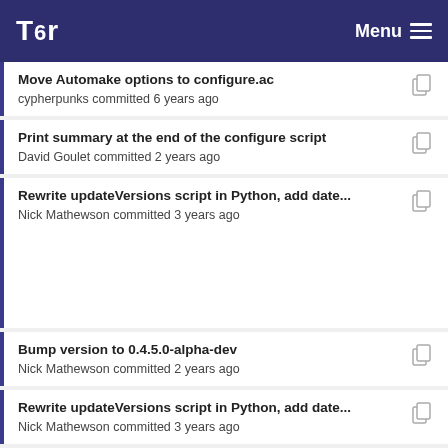Tor | Menu
Move Automake options to configure.ac
cypherpunks committed 6 years ago
Print summary at the end of the configure script
David Goulet committed 2 years ago
Rewrite updateVersions script in Python, add date...
Nick Mathewson committed 3 years ago
Bump version to 0.4.5.0-alpha-dev
Nick Mathewson committed 2 years ago
Rewrite updateVersions script in Python, add date...
Nick Mathewson committed 3 years ago
Move Automake options to configure.ac
cypherpunks committed 6 years ago